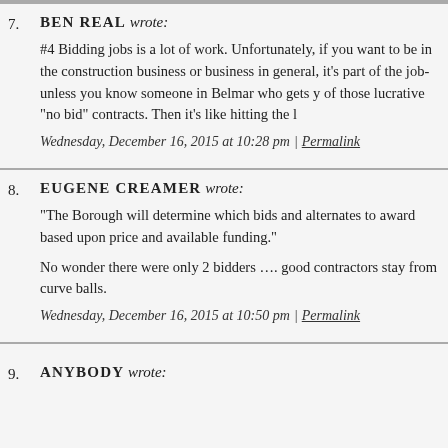7. BEN REAL wrote:
#4 Bidding jobs is a lot of work. Unfortunately, if you want to be in the construction business or business in general, it's part of the job-unless you know someone in Belmar who gets y of those lucrative "no bid" contracts. Then it's like hitting the l
Wednesday, December 16, 2015 at 10:28 pm | Permalink
8. EUGENE CREAMER wrote:
"The Borough will determine which bids and alternates to award based upon price and available funding."
No wonder there were only 2 bidders …. good contractors stay from curve balls.
Wednesday, December 16, 2015 at 10:50 pm | Permalink
9. ANYBODY wrote: